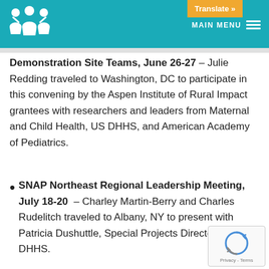MAIN MENU | Translate »
Demonstration Site Teams, June 26-27 – Julie Redding traveled to Washington, DC to participate in this convening by the Aspen Institute of Rural Impact grantees with researchers and leaders from Maternal and Child Health, US DHHS, and American Academy of Pediatrics.
SNAP Northeast Regional Leadership Meeting, July 18-20 – Charley Martin-Berry and Charles Rudelitch traveled to Albany, NY to present with Patricia Dushuttle, Special Projects Director at Maine DHHS.